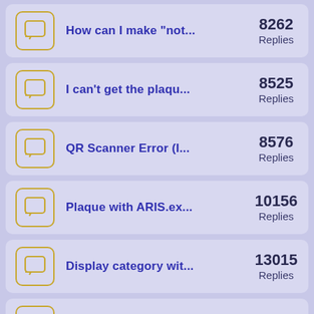How can I make "not... — 8262 Replies
I can't get the plaqu... — 8525 Replies
QR Scanner Error (I... — 8576 Replies
Plaque with ARIS.ex... — 10156 Replies
Display category wit... — 13015 Replies
Filter by contributor? — 12147